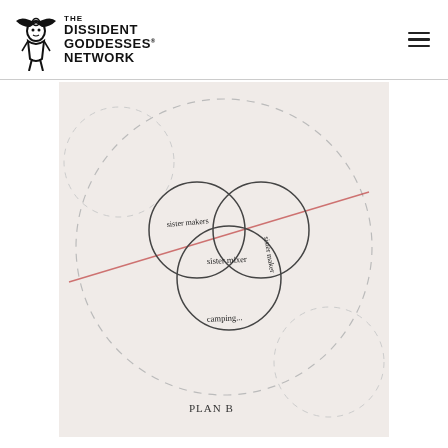THE DISSIDENT GODDESSES NETWORK
[Figure (illustration): Hand-drawn diagram on pale pink/cream paper showing overlapping circles (Venn-like diagram) with handwritten labels. Three medium circles overlap at center with labels: 'SISTER MAKERS', 'SISTER MIXER', 'SISTER MAKER'. A large dashed outer circle surrounds them. A diagonal red/pink line crosses the diagram. Additional handwritten text at bottom reads 'PLAN B'. Smaller dashed circles appear in corners.]